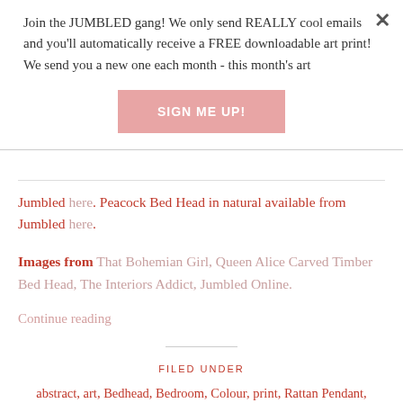Join the JUMBLED gang! We only send REALLY cool emails and you'll automatically receive a FREE downloadable art print! We send you a new one each month - this month's art
SIGN ME UP!
Jumbled here. Peacock Bed Head in natural available from Jumbled here.
Images from That Bohemian Girl, Queen Alice Carved Timber Bed Head, The Interiors Addict, Jumbled Online.
Continue reading
FILED UNDER
abstract, art, Bedhead, Bedroom, Colour, print, Rattan Pendant, The Family Love Tree, Zebra Print